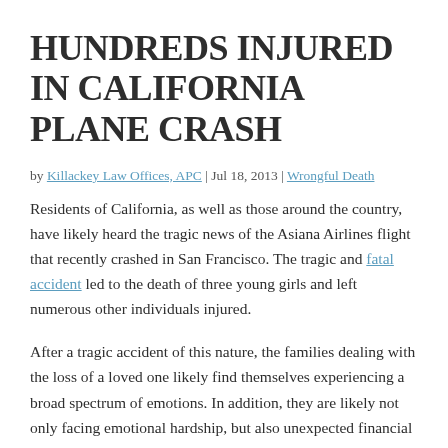HUNDREDS INJURED IN CALIFORNIA PLANE CRASH
by Killackey Law Offices, APC | Jul 18, 2013 | Wrongful Death
Residents of California, as well as those around the country, have likely heard the tragic news of the Asiana Airlines flight that recently crashed in San Francisco. The tragic and fatal accident led to the death of three young girls and left numerous other individuals injured.
After a tragic accident of this nature, the families dealing with the loss of a loved one likely find themselves experiencing a broad spectrum of emotions. In addition, they are likely not only facing emotional hardship, but also unexpected financial hardships. Although nothing will bring back their loved one, there may be an opportunity for compensation to help them